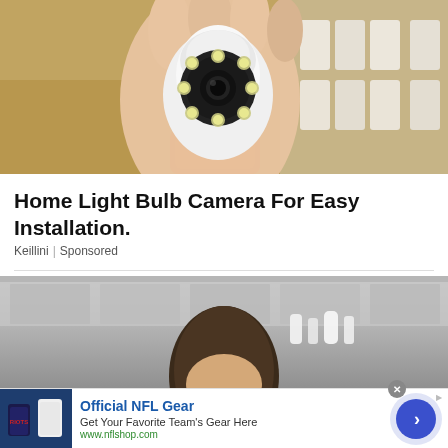[Figure (photo): Hand holding a white smart home light bulb security camera with ring of LED lights, against a warm brown background with shelving]
Home Light Bulb Camera For Easy Installation.
Keillini | Sponsored
[Figure (photo): Young man with dark hair in a kitchen or modern interior setting, partially visible, gray-toned background]
[Figure (infographic): Advertisement overlay: Official NFL Gear - Get Your Favorite Team's Gear Here - www.nflshop.com, with NFL jersey product image and blue arrow CTA button]